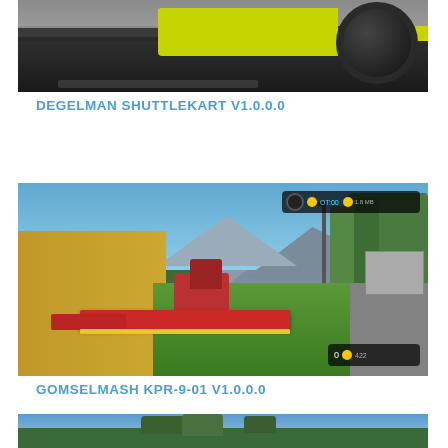[Figure (screenshot): Farming simulator screenshot showing a yellow agricultural machine/trailer on a dark tarmac surface, cropped at top]
DEGELMAN SHUTTLEKART V1.0.0.0
[Figure (screenshot): Farming simulator screenshot showing a red tractor with a large red mower attachment working in a field next to golden crops, with mountains and trees in the background and a HUD overlay]
GOMSELMASH KPR-9-01 V1.0.0.0
[Figure (screenshot): Partial farming simulator screenshot at bottom showing trees and sky, cropped]